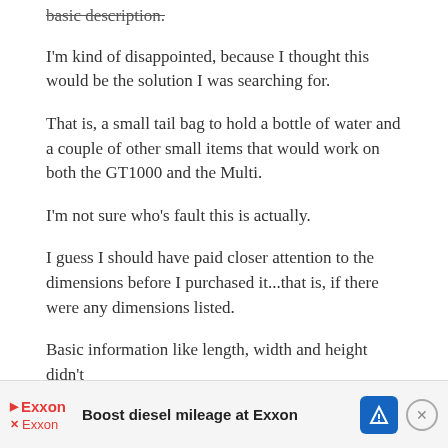basic description.
I'm kind of disappointed, because I thought this would be the solution I was searching for.
That is, a small tail bag to hold a bottle of water and a couple of other small items that would work on both the GT1000 and the Multi.
I'm not sure who's fault this is actually.
I guess I should have paid closer attention to the dimensions before I purchased it...that is, if there were any dimensions listed.
Basic information like length, width and height didn't (and still don't, as far as I can tell) appear on the Hepco &
Becke
[Figure (other): Advertisement banner for Exxon: 'Boost diesel mileage at Exxon' with Exxon logo and navigation icon]